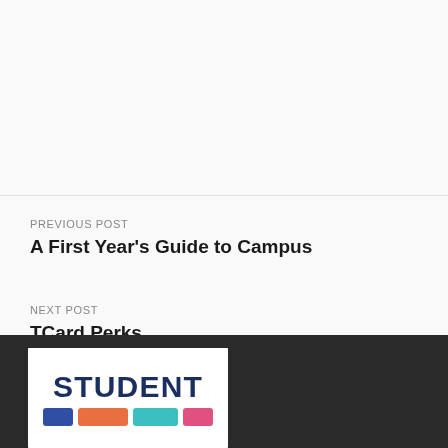PREVIOUS POST
A First Year's Guide to Campus
NEXT POST
TCard Perks
[Figure (logo): Student Life logo: the word STUDENT in dark navy bold letters above a row of colored rectangular bars (blue, orange, teal, pink)]